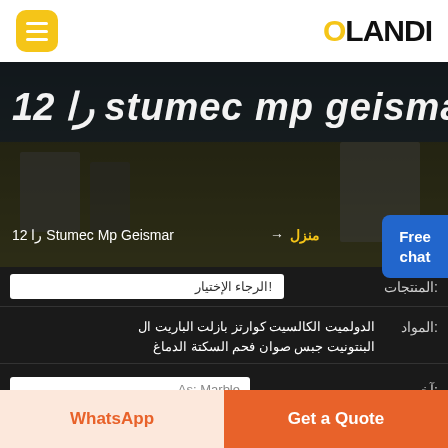[Figure (screenshot): OLANDI website header with yellow hamburger menu button on the left and OLANDI logo on the right]
[Figure (photo): Hero banner showing construction/mining equipment scene with overlaid italic white title text '12 را Stumec mp geismar']
12 را Stumec mp geismar
12 را Stumec Mp Geismar → منزل (breadcrumb navigation in Arabic)
Free chat button (blue)
المنتجات: الرجاء الإختيار!
المواد: الدولميت الكالسيت كوارتز بازلت الباريت الف البنتونيت جبس صوان فحم السكتة الدماغ
آخر: As: Marble
قدرة: < TPH 100 < TPH 50 < TPH 30
WhatsApp
Get a Quote